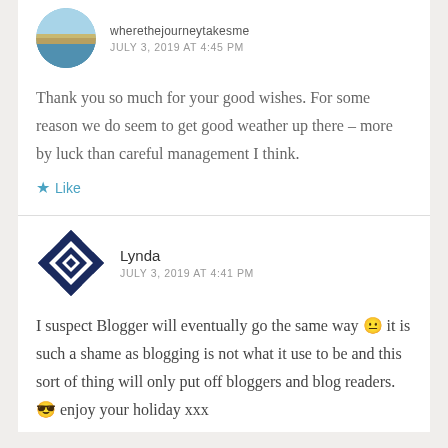[Figure (photo): Circular avatar photo showing a coastal landscape with blue water and grasses]
wherethejourneytakesme
JULY 3, 2019 AT 4:45 PM
Thank you so much for your good wishes. For some reason we do seem to get good weather up there – more by luck than careful management I think.
★ Like
[Figure (logo): Dark navy blue geometric quilt-pattern square avatar for user Lynda]
Lynda
JULY 3, 2019 AT 4:41 PM
I suspect Blogger will eventually go the same way 😐 it is such a shame as blogging is not what it use to be and this sort of thing will only put off bloggers and blog readers. 😎 enjoy your holiday xxx